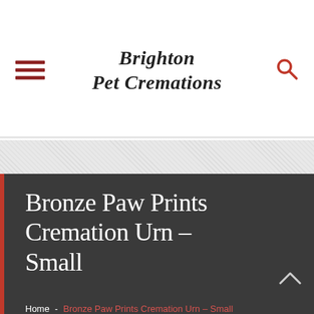Brighton Pet Cremations
Bronze Paw Prints Cremation Urn – Small
Home - Bronze Paw Prints Cremation Urn – Small